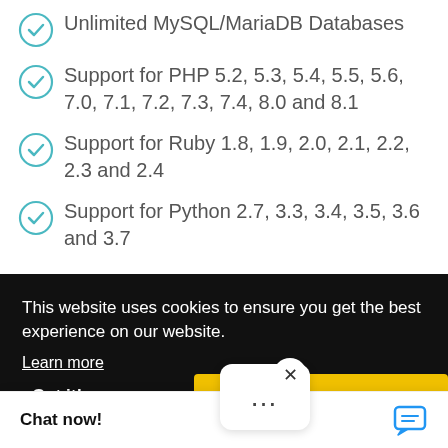Unlimited MySQL/MariaDB Databases
Support for PHP 5.2, 5.3, 5.4, 5.5, 5.6, 7.0, 7.1, 7.2, 7.3, 7.4, 8.0 and 8.1
Support for Ruby 1.8, 1.9, 2.0, 2.1, 2.2, 2.3 and 2.4
Support for Python 2.7, 3.3, 3.4, 3.5, 3.6 and 3.7
This website uses cookies to ensure you get the best experience on our website.
Learn more
Got it!
Allow cookies
Chat now!